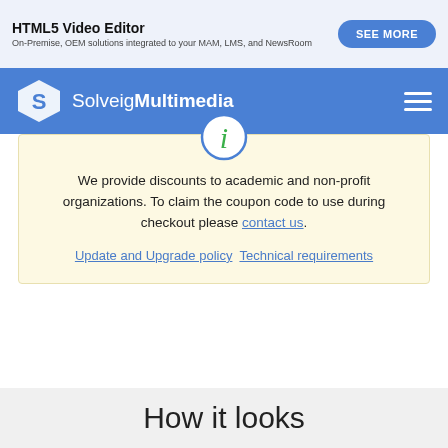HTML5 Video Editor
On-Premise, OEM solutions integrated to your MAM, LMS, and NewsRoom
[Figure (logo): SolveigMultimedia logo with navigation bar in blue]
We provide discounts to academic and non-profit organizations. To claim the coupon code to use during checkout please contact us.
Update and Upgrade policy  Technical requirements
How it looks